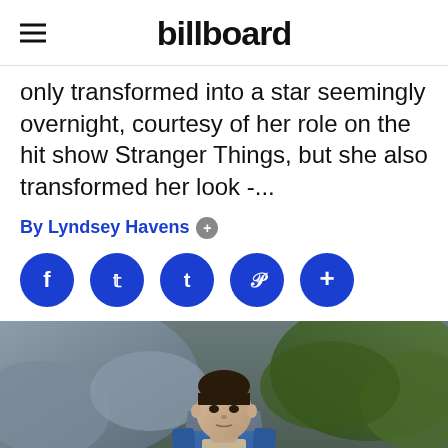billboard
only transformed into a star seemingly overnight, courtesy of her role on the hit show Stranger Things, but she also transformed her look -...
By Lyndsey Havens
[Figure (screenshot): Social media share buttons: Facebook, Twitter, Tumblr, Pinterest, More (+)]
[Figure (photo): A young person with a shaved head wearing a blue jacket over a beige sweater, standing on a road with rocks and greenery in the background, from Stranger Things.]